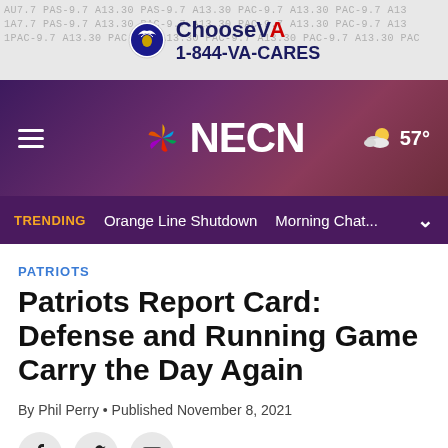[Figure (screenshot): ChooseVA advertisement banner with VA logo and phone number 1-844-VA-CARES]
NECN — NBC News navigation bar with hamburger menu, NECN peacock logo, and weather showing 57°
TRENDING: Orange Line Shutdown  Morning Chat...
PATRIOTS
Patriots Report Card: Defense and Running Game Carry the Day Again
By Phil Perry • Published November 8, 2021
[Figure (screenshot): Social sharing icons: Facebook, Twitter, Email]
[Figure (photo): Black image area at bottom of page]